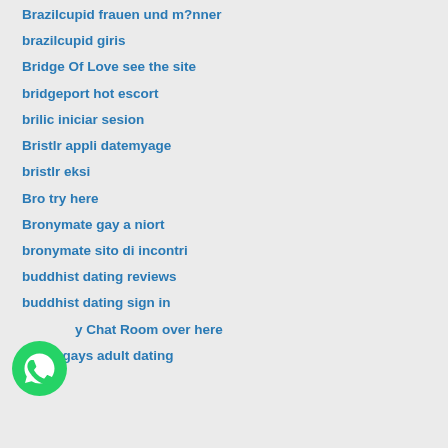Brazilcupid frauen und m?nner
brazilcupid giris
Bridge Of Love see the site
bridgeport hot escort
brilic iniciar sesion
Bristlr appli datemyage
bristlr eksi
Bro try here
Bronymate gay a niort
bronymate sito di incontri
buddhist dating reviews
buddhist dating sign in
Buddy Chat Room over here
buddygays adult dating
[Figure (logo): WhatsApp green circular icon with phone handset]